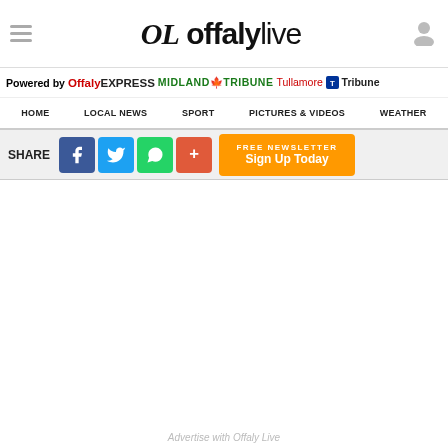OL offalylive
Powered by Offaly EXPRESS MIDLAND TRIBUNE Tullamore Tribune
HOME  LOCAL NEWS  SPORT  PICTURES & VIDEOS  WEATHER
SHARE [Facebook] [Twitter] [WhatsApp] [+] FREE NEWSLETTER Sign Up Today
Advertise with Offaly Live